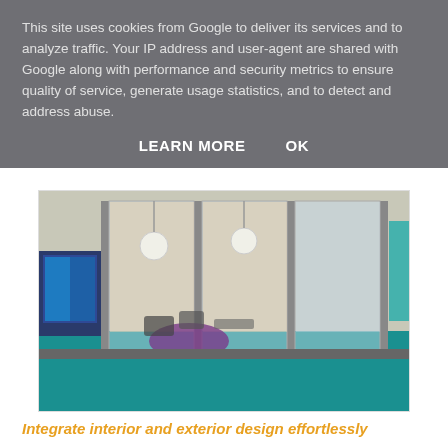This site uses cookies from Google to deliver its services and to analyze traffic. Your IP address and user-agent are shared with Google along with performance and security metrics to ensure quality of service, generate usage statistics, and to detect and address abuse.
LEARN MORE    OK
[Figure (photo): Interior photo of a modern office or showroom with large glass sliding/folding doors, teal/turquoise carpet, purple circular rug, pendant lamps, chairs, and a wall-mounted screen on the left.]
Integrate interior and exterior design effortlessly
Design and style within residential apartments and houses play a key role. The C160S design allows for dual colour options meaning exterior building requirements need not affect interior design choices.